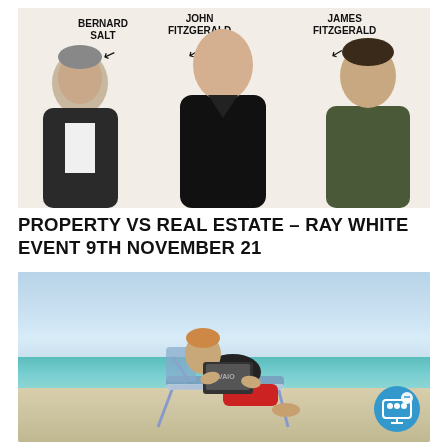[Figure (photo): Three people labeled Bernard Salt, John Fitzgerald, and James Fitzgerald standing side by side with name labels and arrows pointing to them on a light background]
PROPERTY VS REAL ESTATE – RAY WHITE EVENT 9TH NOVEMBER 21
[Figure (photo): Man sitting on a beach chair on a sandy beach with turquoise water, working on a laptop computer, wearing a black t-shirt and red shorts. A blue circular icon with a presentation/webinar symbol appears in the bottom right corner.]